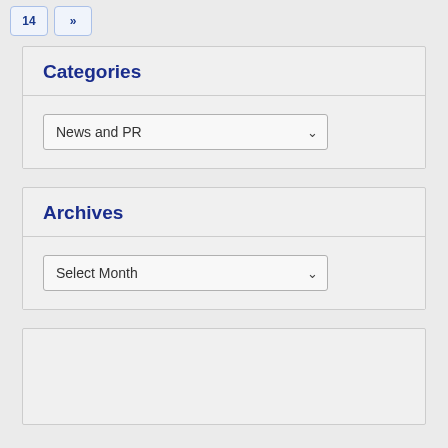[Figure (screenshot): Pagination buttons showing '14' and '>>']
Categories
[Figure (screenshot): Dropdown select box showing 'News and PR']
Archives
[Figure (screenshot): Dropdown select box showing 'Select Month']
[Figure (screenshot): Empty widget box]